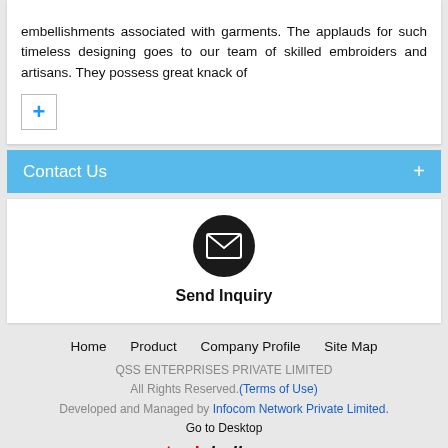embellishments associated with garments. The applauds for such timeless designing goes to our team of skilled embroiders and artisans. They possess great knack of
[Figure (other): Blue plus (+) button in a bordered box]
Contact Us +
[Figure (other): Black circle with envelope/mail icon, labeled 'Send Inquiry']
Home   Product   Company Profile   Site Map
QSS ENTERPRISES PRIVATE LIMITED All Rights Reserved.(Terms of Use) Developed and Managed by Infocom Network Private Limited. Go to Desktop
[Figure (logo): tradeindia.com logo]